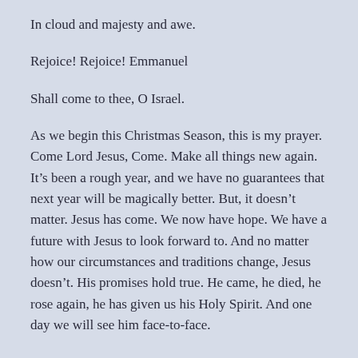In cloud and majesty and awe.
Rejoice! Rejoice! Emmanuel
Shall come to thee, O Israel.
As we begin this Christmas Season, this is my prayer. Come Lord Jesus, Come. Make all things new again. It’s been a rough year, and we have no guarantees that next year will be magically better. But, it doesn’t matter. Jesus has come. We now have hope. We have a future with Jesus to look forward to. And no matter how our circumstances and traditions change, Jesus doesn’t. His promises hold true. He came, he died, he rose again, he has given us his Holy Spirit. And one day we will see him face-to-face.